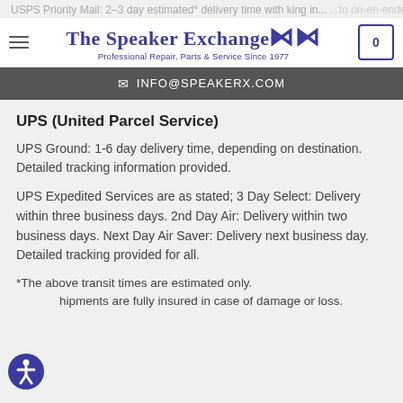USPS Priority Mail: 2-3 day estimated* delivery time with tracking in...
[Figure (logo): The Speaker Exchange logo with sound waves icon and tagline 'Professional Repair, Parts & Service Since 1977']
INFO@SPEAKERX.COM
UPS (United Parcel Service)
UPS Ground: 1-6 day delivery time, depending on destination. Detailed tracking information provided.
UPS Expedited Services are as stated; 3 Day Select: Delivery within three business days. 2nd Day Air: Delivery within two business days. Next Day Air Saver: Delivery next business day. Detailed tracking provided for all.
*The above transit times are estimated only.
...hipments are fully insured in case of damage or loss.